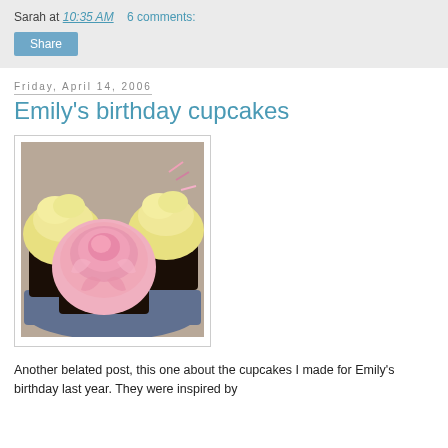Sarah at 10:35 AM   6 comments:
Share
Friday, April 14, 2006
Emily's birthday cupcakes
[Figure (photo): Photo of cupcakes on a dark plate: two with yellow/cream frosting swirls and one prominent cupcake with a pink rose frosting decoration in the center foreground]
Another belated post, this one about the cupcakes I made for Emily's birthday last year. They were inspired by